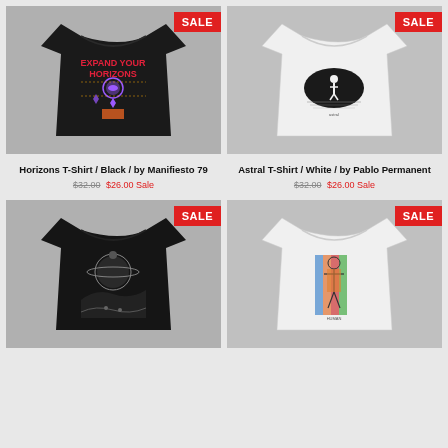[Figure (photo): Black t-shirt with colorful psychedelic graphic design reading EXPAND YOUR HORIZONS with SALE badge in top right corner]
Horizons T-Shirt / Black / by Manifiesto 79
$32.00 $26.00 Sale
[Figure (photo): White t-shirt with black and white astral graphic design featuring a figure on a dark semi-circle, with SALE badge in top right corner]
Astral T-Shirt / White / by Pablo Permanent
$32.00 $26.00 Sale
[Figure (photo): Black t-shirt with dark cosmic/planet graphic design, with SALE badge in top right corner]
[Figure (photo): White t-shirt with colorful human figure/anatomy graphic design, with SALE badge in top right corner]